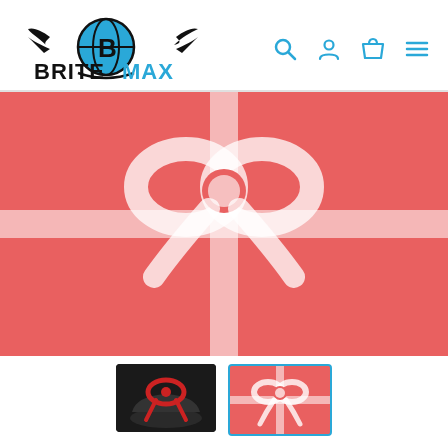[Figure (logo): BriteMax logo with winged globe and BRITEMAX text in black and blue]
[Figure (illustration): Navigation icons: search magnifying glass, user profile, shopping bag, hamburger menu — in cyan/teal color]
[Figure (illustration): Large red gift card image with white ribbon and bow in the center]
[Figure (photo): Thumbnail photo of a car with red bow on hood]
[Figure (illustration): Thumbnail of red gift card with white ribbon, selected with blue border]